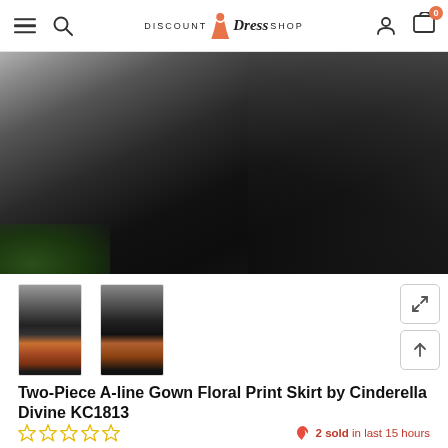Discount Dress Shop — navigation bar with hamburger menu, search, logo, account, cart (0)
[Figure (photo): Close-up product photo of a black satin ball gown skirt, showing flowing fabric folds against a grey background with a hint of green at lower left]
[Figure (photo): Two thumbnail images of a Two-Piece A-line Gown with Floral Print Skirt by Cinderella Divine KC1813 — front view and back view, showing black gown with colorful floral print on the skirt]
Two-Piece A-line Gown Floral Print Skirt by Cinderella Divine KC1813
☆☆☆☆☆   2 sold in last 15 hours